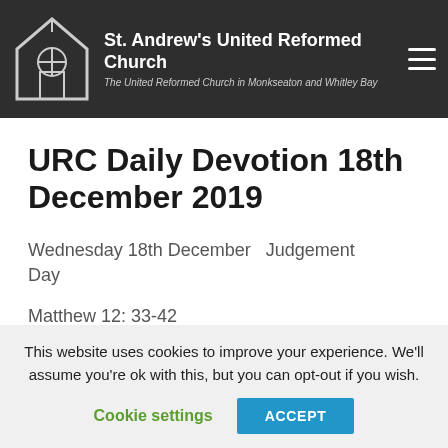St. Andrew's United Reformed Church — The United Reformed Church in Monkseaton and Whitley Bay
URC Daily Devotion 18th December 2019
Wednesday 18th December  Judgement Day
Matthew 12: 33-42
'Either make the tree good, and its fruit
This website uses cookies to improve your experience. We'll assume you're ok with this, but you can opt-out if you wish. Cookie settings  ACCEPT